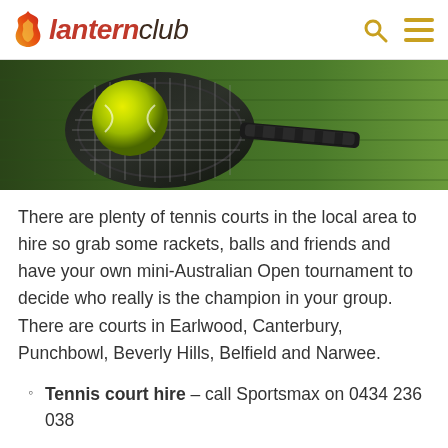lanternclub
[Figure (photo): Close-up photo of a yellow-green tennis ball resting in a tennis racket on a green court surface]
There are plenty of tennis courts in the local area to hire so grab some rackets, balls and friends and have your own mini-Australian Open tournament to decide who really is the champion in your group. There are courts in Earlwood, Canterbury, Punchbowl, Beverly Hills, Belfield and Narwee.
Tennis court hire – call Sportsmax on 0434 236 038